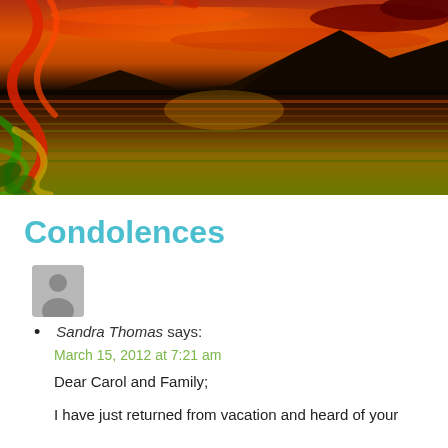[Figure (photo): A dramatic sunset landscape photograph showing a lake or river with colorful smoke or ribbons (red, orange, green) in the foreground, silhouetted mountains in the background, and vivid orange/red reflections on the water.]
Condolences
[Figure (photo): Generic grey user avatar icon showing a person silhouette.]
Sandra Thomas says:
March 15, 2012 at 7:21 am
Dear Carol and Family;
I have just returned from vacation and heard of your